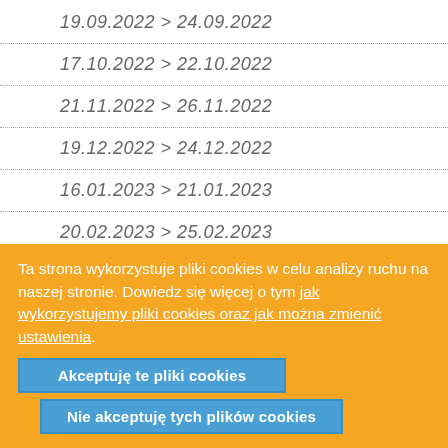19.09.2022 > 24.09.2022
17.10.2022 > 22.10.2022
21.11.2022 > 26.11.2022
19.12.2022 > 24.12.2022
16.01.2023 > 21.01.2023
20.02.2023 > 25.02.2023
20.03.2023 > 25.03.2023
17.04.2023 > 22.04.2023
Ta strona wykorzystuje pliki cookies w celu analizy ruchu na naszej stronie. Dowiedz się więcej o tym jak wykorzystujemy pliki cookies oraz jak można zmienić ustawienia.
Akceptuję te pliki cookies
Nie akceptuję tych plików cookies